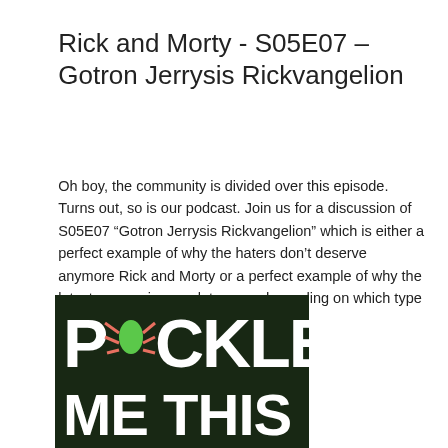Rick and Morty - S05E07 – Gotron Jerrysis Rickvangelion
Oh boy, the community is divided over this episode. Turns out, so is our podcast. Join us for a discussion of S05E07 “Gotron Jerrysis Rickvangelion” which is either a perfect example of why the haters don’t deserve anymore Rick and Morty or a perfect example of why the latest season is complete crap, depending on which type of toxic fan you are.
Tags - Podcast, TV, Sci-Fi, Season Five, comedy, A.Ron, Jim
[Figure (photo): Podcast logo showing 'PICKLE ME THIS' text in bold white letters on a dark green/black background, with a green insect figure in place of the letter O in PICKLE]